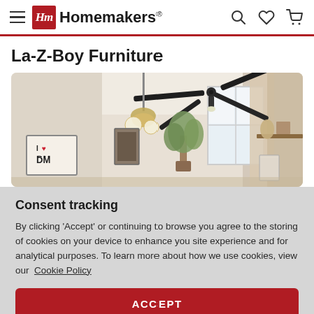Homemakers
La-Z-Boy Furniture
[Figure (photo): Interior room photo showing a ceiling fan with black blades, pendant light with globe bulbs, potted plant, white window with curtain, framed art on wall, and shelving with decorative items]
Consent tracking
By clicking 'Accept' or continuing to browse you agree to the storing of cookies on your device to enhance you site experience and for analytical purposes. To learn more about how we use cookies, view our Cookie Policy
ACCEPT